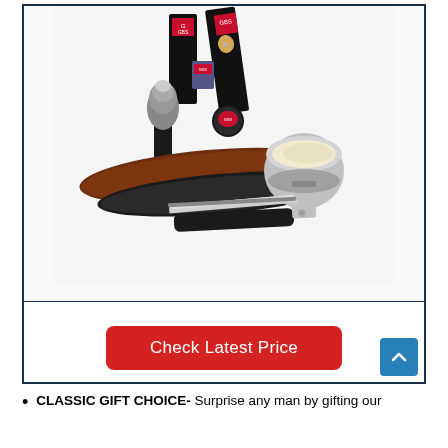[Figure (photo): GBS brand shaving kit product photo showing a straight razor, shaving brush with black handle, leather strop with brown and black surfaces, shaving bowl, razor blades, and GBS branded packaging boxes arranged together on white background]
Check Latest Price
CLASSIC GIFT CHOICE- Surprise any man by gifting our